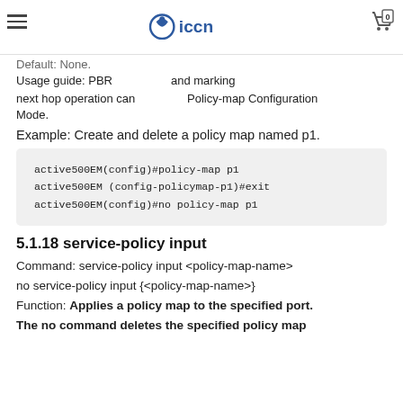iccn
Default: None.
Usage guide: PBR ... and marking ... next hop operation can be ... Policy-map Configuration Mode.
Example: Create and delete a policy map named p1.
active500EM(config)#policy-map p1
active500EM (config-policymap-p1)#exit
active500EM(config)#no policy-map p1
5.1.18 service-policy input
Command: service-policy input <policy-map-name>
no service-policy input {<policy-map-name>}
Function: Applies a policy map to the specified port. The no command deletes the specified policy map